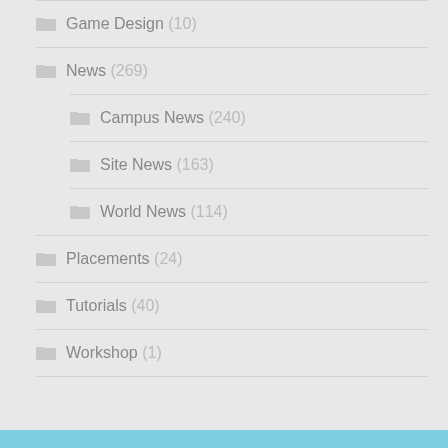Game Design (10)
News (269)
Campus News (240)
Site News (163)
World News (114)
Placements (24)
Tutorials (40)
Workshop (1)